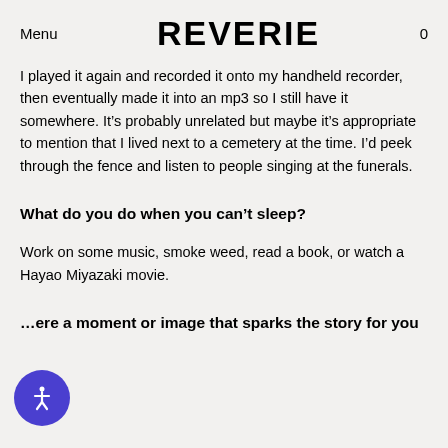Menu | REVERIE | 0
I played it again and recorded it onto my handheld recorder, then eventually made it into an mp3 so I still have it somewhere. It’s probably unrelated but maybe it’s appropriate to mention that I lived next to a cemetery at the time. I’d peek through the fence and listen to people singing at the funerals.
What do you do when you can’t sleep?
Work on some music, smoke weed, read a book, or watch a Hayao Miyazaki movie.
ere a moment or image that sparks the story for you